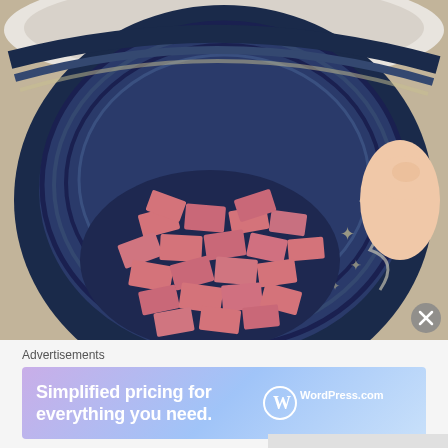[Figure (photo): Overhead view of a crocheted hat/basket with navy blue, white, and tan yarn patterns, filled with many small pink rectangular paper slips. A person's thumb is visible on the right side holding the hat open.]
Advertisements
[Figure (infographic): WordPress.com advertisement banner with gradient purple-to-blue background. Text reads: 'Simplified pricing for everything you need.' with the WordPress.com logo on the right.]